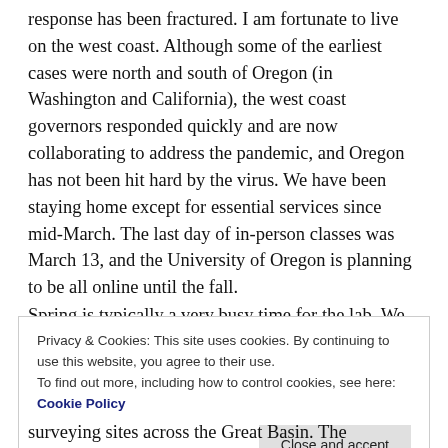response has been fractured. I am fortunate to live on the west coast. Although some of the earliest cases were north and south of Oregon (in Washington and California), the west coast governors responded quickly and are now collaborating to address the pandemic, and Oregon has not been hit hard by the virus. We have been staying home except for essential services since mid-March. The last day of in-person classes was March 13, and the University of Oregon is planning to be all online until the fall.
Spring is typically a very busy time for the lab. We
Privacy & Cookies: This site uses cookies. By continuing to use this website, you agree to their use. To find out more, including how to control cookies, see here: Cookie Policy
surveying sites across the Great Basin. The